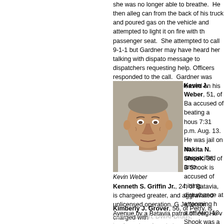she was no longer able to breathe. He then alleged can from the back of his truck and poured gas on the vehicle and attempted to light it on fire with the passenger seat. She attempted to call 9-1-1 but Gardner may have heard her talking with dispatchers message to dispatchers requesting help. Officers responded to the call. Gardner was placed under Court and released on his own recognizance, se
[Figure (photo): Mugshot photo of Kevin Weber, an older white male with gray hair wearing a white shirt]
Kevin Weber
Kevin J. Weber, 51, of Batavia, accused of beating a house 7:31 p.m. Aug. 13. He was jail on an unspecified amount
Nakita N. Shook, 36, of B Shook is accused of hitting disturbance at a rooming h a.m. Aug. 13. Shook was a Sept. 1.
Kenneth S. Griffin Jr., 24, of Batavia, is charged greater, and aggravated unlicensed operation. G Jefferson Avenue by a Batavia patrol officer. He v
Kimberly J. Grover, 56, of Perry, is charged with substance 7th, DWAI-Drugs, inadequate exhaust stopped by a Batavia patrol officer at 12:30 a.m. appearance ticket.